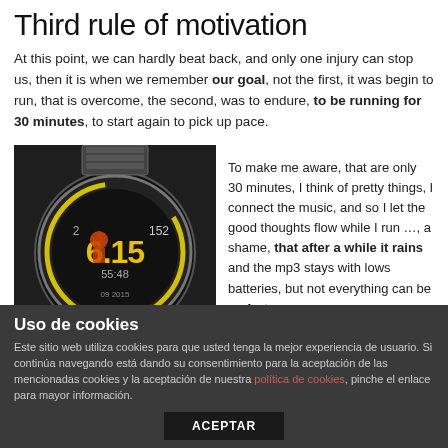Third rule of motivation
At this point, we can hardly beat back, and only one injury can stop us, then it is when we remember our goal, not the first, it was begin to run, that is overcome, the second, was to endure, to be running for 30 minutes, to start again to pick up pace.
[Figure (photo): A smartwatch with a round face showing time and fitness data, with a metallic bracelet band, displayed on a dark background.]
To make me aware, that are only 30 minutes, I think of pretty things, I connect the music, and so I let the good thoughts flow while I run …, a shame, that after a while it rains and the mp3 stays with lows batteries, but not everything can be perfect.
Uso de cookies
Este sitio web utiliza cookies para que usted tenga la mejor experiencia de usuario. Si continúa navegando está dando su consentimiento para la aceptación de las mencionadas cookies y la aceptación de nuestra política de cookies, pinche el enlace para mayor información.